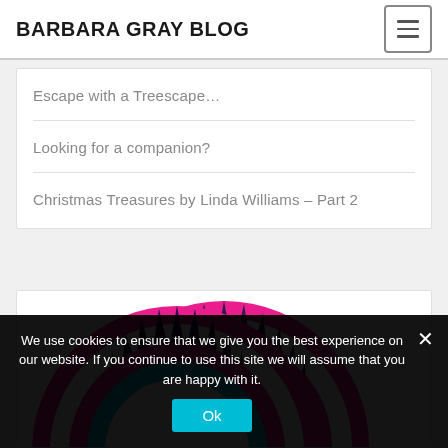BARBARA GRAY BLOG
Escape with a Treescape…
Looking for a companion?
Christmas Treasures by Linda Williams – Part 2
[Figure (illustration): Circular badge/logo with pink outer ring, dark purple spiky crown-like triangular pattern, blue inner ring, partially visible.]
We use cookies to ensure that we give you the best experience on our website. If you continue to use this site we will assume that you are happy with it.